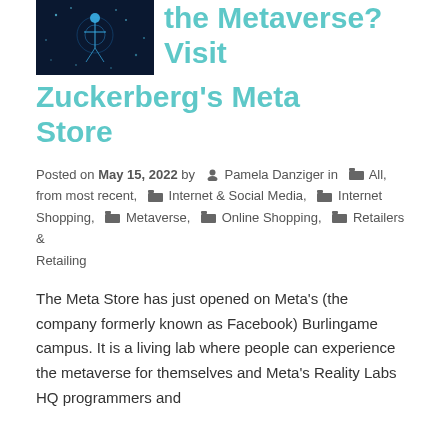[Figure (photo): Dark blue/black image of a glowing digital human figure or network node visualization, suggesting metaverse or digital space.]
the Metaverse? Visit Zuckerberg's Meta Store
Posted on May 15, 2022 by  Pamela Danziger in  All, from most recent,  Internet & Social Media,  Internet Shopping,  Metaverse,  Online Shopping,  Retailers & Retailing
The Meta Store has just opened on Meta's (the company formerly known as Facebook) Burlingame campus. It is a living lab where people can experience the metaverse for themselves and Meta's Reality Labs HQ programmers and